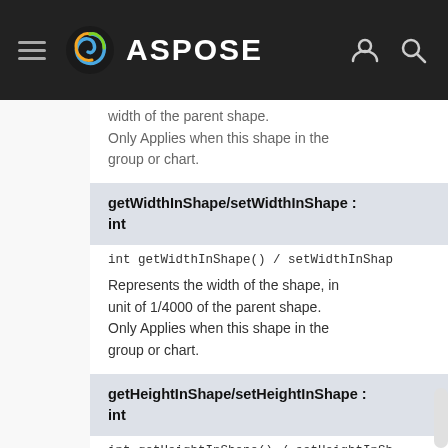ASPOSE
width of the parent shape.
Only Applies when this shape in the group or chart.
getWidthInShape/setWidthInShape : int
int getWidthInShape() / setWidthInShape(...)
Represents the width of the shape, in unit of 1/4000 of the parent shape.
Only Applies when this shape in the group or chart.
getHeightInShape/setHeightInShape : int
int getHeightInShape() / setHeightInSh...
Represents the vertical offset of